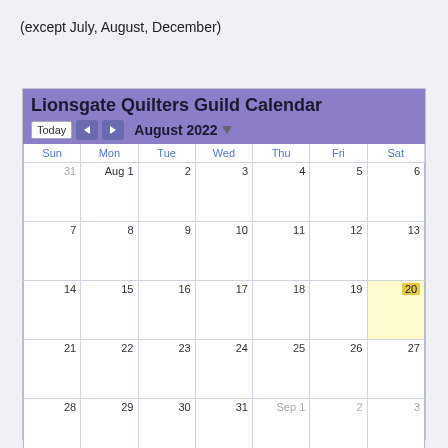(except July, August, December)
[Figure (screenshot): Lionsgate Quilters Guild Calendar for August 2022, shown as a monthly Google Calendar view. Header in purple with title, navigation arrows, Today button, and August 2022 with dropdown. Days of week row (Sun-Sat) in blue on white. Five weeks of dates shown, Aug 1-31 plus Aug 31 from July and Sep 1-3. Day 20 (Saturday) is highlighted with a gold/yellow background.]